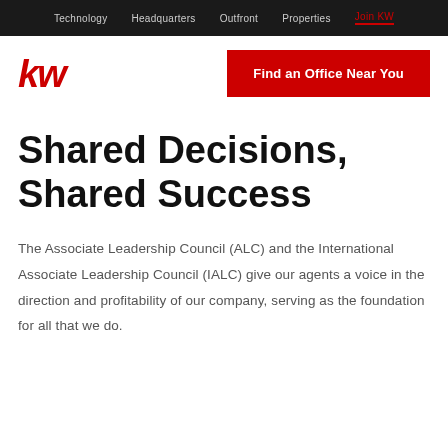Technology  Headquarters  Outfront  Properties  Join KW
[Figure (logo): Keller Williams kw logo in red italic bold text]
Find an Office Near You
Shared Decisions, Shared Success
The Associate Leadership Council (ALC) and the International Associate Leadership Council (IALC) give our agents a voice in the direction and profitability of our company, serving as the foundation for all that we do.